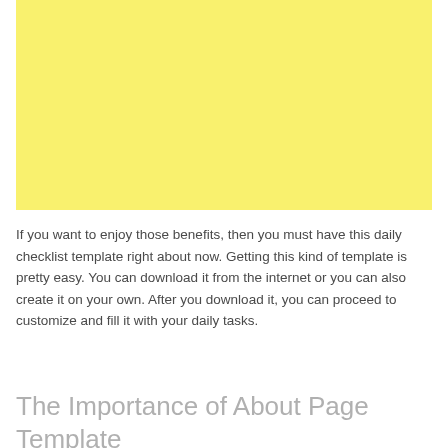[Figure (other): Yellow rectangular placeholder block]
If you want to enjoy those benefits, then you must have this daily checklist template right about now. Getting this kind of template is pretty easy. You can download it from the internet or you can also create it on your own. After you download it, you can proceed to customize and fill it with your daily tasks.
The Importance of About Page Template